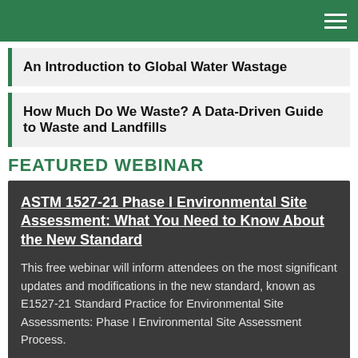An Introduction to Global Water Wastage
How Much Do We Waste? A Data-Driven Guide to Waste and Landfills
FEATURED WEBINAR
ASTM 1527-21 Phase I Environmental Site Assessment: What You Need to Know About the New Standard

This free webinar will inform attendees on the most significant updates and modifications in the new standard, known as E1527-21 Standard Practice for Environmental Site Assessments: Phase I Environmental Site Assessment Process.
TRENDING